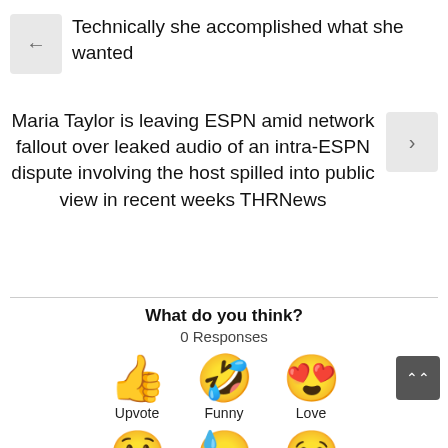Technically she accomplished what she wanted
Maria Taylor is leaving ESPN amid network fallout over leaked audio of an intra-ESPN dispute involving the host spilled into public view in recent weeks THRNews
What do you think?
0 Responses
[Figure (infographic): Three emoji reaction buttons: Upvote (thumbs up), Funny (laughing face with tongue), Love (heart eyes face)]
[Figure (infographic): Three partially visible emoji reaction buttons at bottom of page]